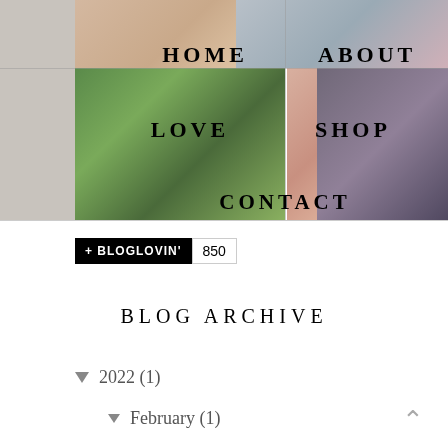[Figure (screenshot): Blog navigation grid with photo backgrounds showing HOME, ABOUT, LOVE, SHOP, and CONTACT menu items over photo collage]
[Figure (infographic): Bloglovin follow button showing +BLOGLOVIN' with count 850]
BLOG ARCHIVE
▼ 2022 (1)
▼ February (1)